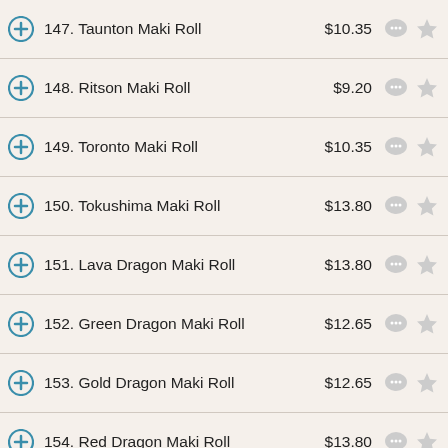147. Taunton Maki Roll $10.35
148. Ritson Maki Roll $9.20
149. Toronto Maki Roll $10.35
150. Tokushima Maki Roll $13.80
151. Lava Dragon Maki Roll $13.80
152. Green Dragon Maki Roll $12.65
153. Gold Dragon Maki Roll $12.65
154. Red Dragon Maki Roll $13.80
155. Black Dragon Maki Roll $12.65
156. Fiery Dragon Maki Roll $12.65
157. Super Rainbow Maki Roll $17.25
Hand Roll